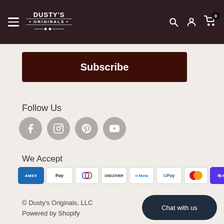Dusty's Originals — navigation header
Subscribe
Follow Us
[Figure (illustration): Social media icons: Facebook, Instagram, Pinterest, YouTube — grey circles with white icons]
We Accept
[Figure (illustration): Payment method icons: Amex, Apple Pay, Diners Club, Discover, Meta Pay, Google Pay, Mastercard, Shop Pay, Visa]
© Dusty's Originals, LLC
Powered by Shopify
Chat with us